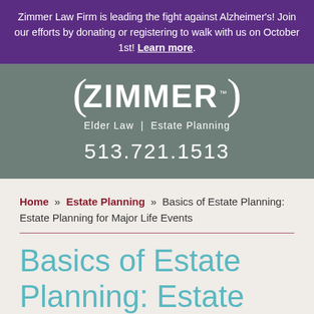Zimmer Law Firm is leading the fight against Alzheimer's! Join our efforts by donating or registering to walk with us on October 1st! Learn more.
[Figure (logo): Zimmer Law Firm logo with parentheses around the word ZIMMER, tagline 'Elder Law | Estate Planning', and phone number 513.721.1513 on a muted green-grey background]
Home » Estate Planning » Basics of Estate Planning: Estate Planning for Major Life Events
Basics of Estate Planning: Estate